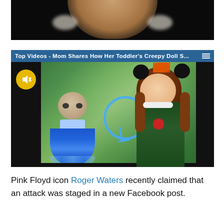[Figure (photo): Close-up photo of a person's chin and lower face against a dark background, with white hair/fur visible on the sides]
[Figure (screenshot): Video player showing a toddler girl wearing Minnie Mouse ears with an orange bow and a dark green dress, holding a creepy-looking bald doll in a blue satin dress. Title bar reads: Top Videos - Mom Shares How Her Toddler's Creepy Doll S...]
Pink Floyd icon Roger Waters recently claimed that an attack was staged in a new Facebook post.